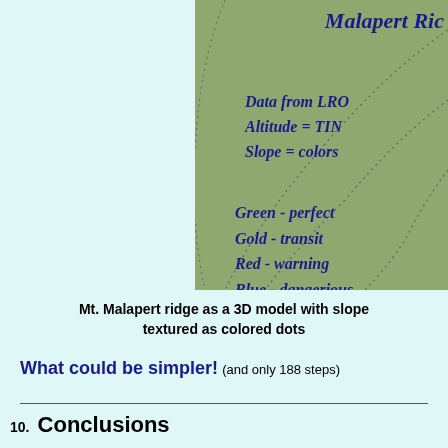[Figure (illustration): 3D terrain map of Mt. Malapert ridge showing slope as colored dots. Title 'Malapert Rid...' is partially visible. Legend shows: Data from LRO, Altitude = TIN, Slope = colors, Green - perfect, Gold - transit, Red - warning, Blue - dangerious, Purple - landsides. Background is sage green with dotted diagonal lines representing terrain contours.]
Mt. Malapert ridge as a 3D model with slope textured as colored dots
What could be simpler! (and only 188 steps)
10. Conclusions